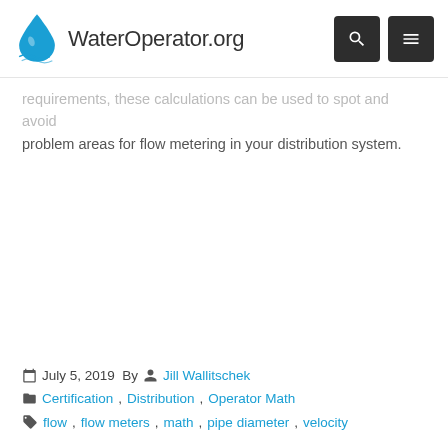WaterOperator.org
requirements, these calculations can be used to spot and avoid problem areas for flow metering in your distribution system.
July 5, 2019  By  Jill Wallitschek
Certification, Distribution, Operator Math
flow, flow meters, math, pipe diameter, velocity